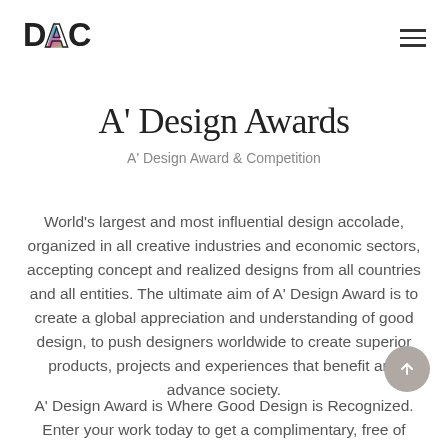DAC [logo] | hamburger menu
A' Design Awards
A' Design Award & Competition
World's largest and most influential design accolade, organized in all creative industries and economic sectors, accepting concept and realized designs from all countries and all entities. The ultimate aim of A' Design Award is to create a global appreciation and understanding of good design, to push designers worldwide to create superior products, projects and experiences that benefit and advance society.
A' Design Award is Where Good Design is Recognized. Enter your work today to get a complimentary, free of